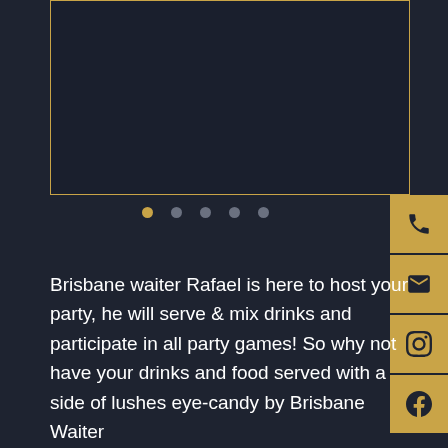[Figure (photo): Dark image placeholder area with gold/amber border, showing no visible content — appears to be a slideshow image frame]
[Figure (infographic): Slideshow navigation dots: five dots in a row, first dot is gold/amber (active), remaining four are grey]
[Figure (infographic): Right sidebar with four gold square icon buttons: phone, email/envelope, Instagram, Facebook]
Brisbane waiter Rafael is here to host your party, he will serve & mix drinks and participate in all party games! So why not have your drinks and food served with a side of lushes eye-candy by Brisbane Waiter